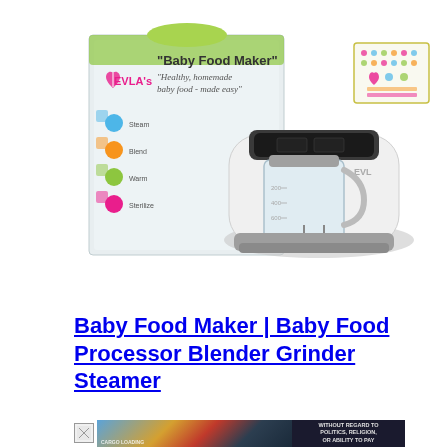[Figure (photo): Baby food maker/blender/steamer product photo showing the EVLA's branded machine with a clear glass blending jar, digital control panel, and its retail box. A small sticker sheet is visible in the top right corner of the image.]
Baby Food Maker | Baby Food Processor Blender Grinder Steamer
[Figure (photo): Broken image icon followed by an advertisement banner showing an airplane on a tarmac with cargo being loaded, and a dark banner reading WITHOUT REGARD TO POLITICS, RELIGION, OR ABILITY TO PAY]